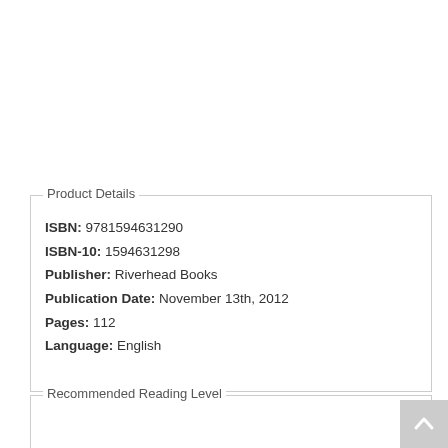Product Details
ISBN: 9781594631290
ISBN-10: 1594631298
Publisher: Riverhead Books
Publication Date: November 13th, 2012
Pages: 112
Language: English
Recommended Reading Level